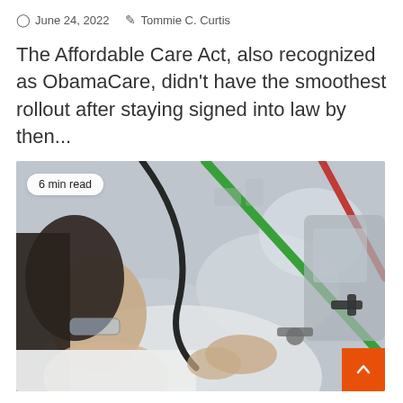June 24, 2022  Tommie C. Curtis
The Affordable Care Act, also recognized as ObamaCare, didn't have the smoothest rollout after staying signed into law by then...
[Figure (photo): A woman in a white lab coat and safety glasses examining medical/laboratory equipment with green and red tubing. A '6 min read' badge is overlaid in the top-left corner. An orange scroll-to-top button is in the bottom-right corner.]